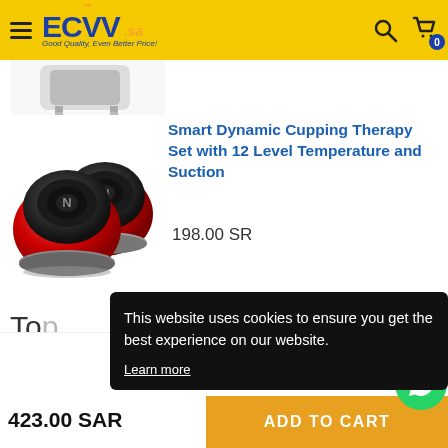[Figure (screenshot): ECVV.sa website header with logo, hamburger menu, search icon, and cart icon on yellow background]
[Figure (photo): Small product image strip showing white device at top of page]
[Figure (photo): Smart Dynamic Cupping Therapy Set - two round red and black devices]
Smart Dynamic Cupping Therapy Set with 12 Level Temperature and Suction
198.00 SR
Top
This website uses cookies to ensure you get the best experience on our website.
Learn more
1
Chat with us
423.00 SAR
ADD TO CART